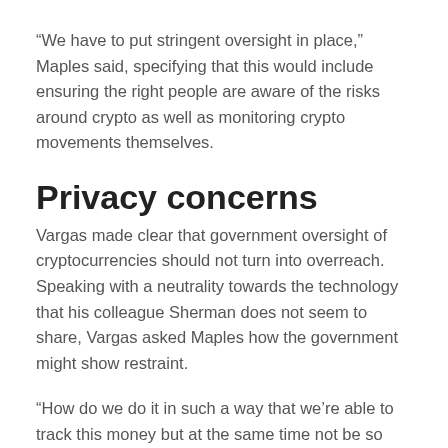“We have to put stringent oversight in place,” Maples said, specifying that this would include ensuring the right people are aware of the risks around crypto as well as monitoring crypto movements themselves.
Privacy concerns
Vargas made clear that government oversight of cryptocurrencies should not turn into overreach. Speaking with a neutrality towards the technology that his colleague Sherman does not seem to share, Vargas asked Maples how the government might show restraint.
“How do we do it in such a way that we’re able to track this money but at the same time not be so involved in their lives?” Vargas said.